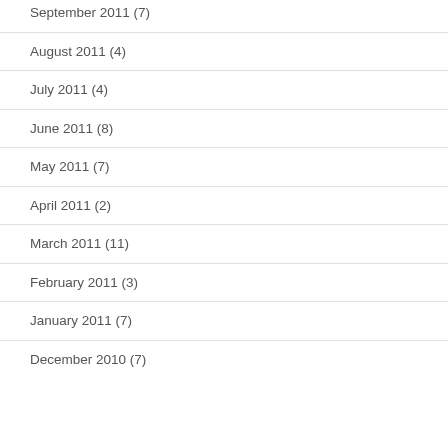September 2011 (7)
August 2011 (4)
July 2011 (4)
June 2011 (8)
May 2011 (7)
April 2011 (2)
March 2011 (11)
February 2011 (3)
January 2011 (7)
December 2010 (7)